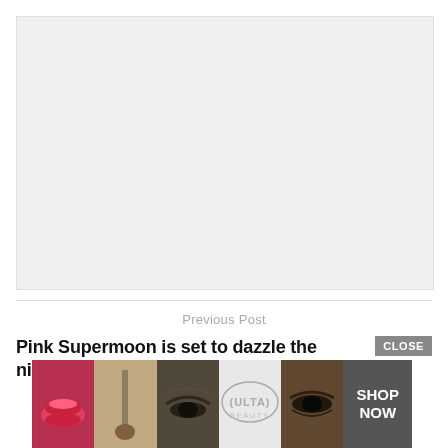[Figure (photo): Large light grey image placeholder area]
Previous Post
Pink Supermoon is set to dazzle the night...aking
[Figure (infographic): Ulta Beauty advertisement banner showing lips with red lipstick, makeup brush, eye with eyebrow, Ulta Beauty logo, eye with smoky makeup, and Shop Now button. CLOSE button overlapping top right.]